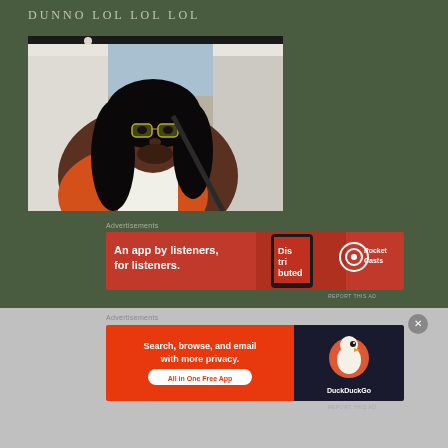DUNNO LOL LOL LOL
[Figure (photo): A man with long curly black hair wearing glasses and an orange jacket sitting in a car with cream leather seats]
Advertisements
[Figure (other): Pocket Casts advertisement banner: An app by listeners, for listeners.]
REPORT THIS AD
Advertisements
[Figure (other): DuckDuckGo advertisement banner: Search, browse, and email with more privacy. All in One Free App]
REPORT THIS AD